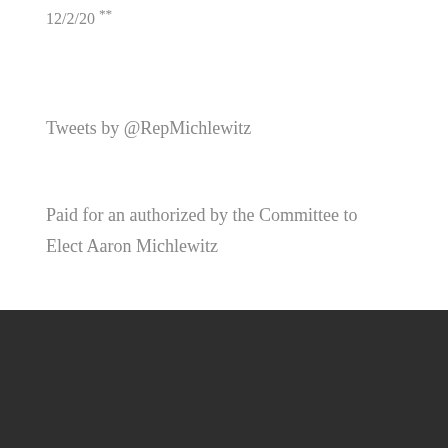12/2/20 **
Tweets by @RepMichlewitz
Paid for an authorized by the Committee to Elect Aaron Michlewitz